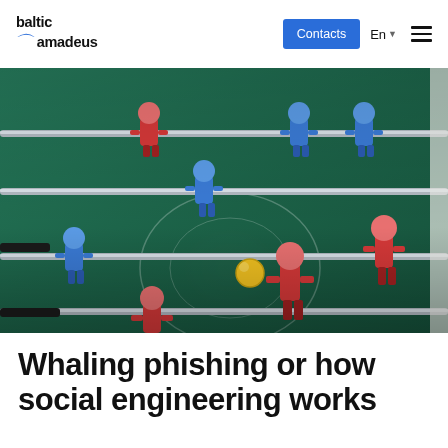baltic amadeus | Contacts | En
[Figure (photo): Close-up photograph of a foosball (table football) game showing blue and red plastic player figures on metal rods on a green playing surface, with a yellow ball in the center.]
Whaling phishing or how social engineering works